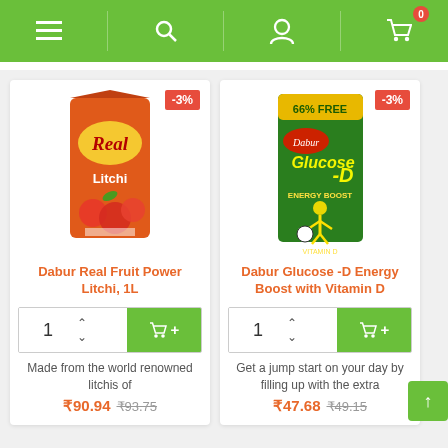[Figure (screenshot): Mobile app navigation bar with green background containing hamburger menu, search, user profile, and shopping cart icons. Cart shows badge with 0.]
[Figure (photo): Product card for Dabur Real Fruit Power Litchi 1L juice carton with -3% discount badge.]
Dabur Real Fruit Power Litchi, 1L
Made from the world renowned litchis of
₹90.94  ₹93.75
[Figure (photo): Product card for Dabur Glucose-D Energy Boost with Vitamin D green box with -3% discount badge.]
Dabur Glucose -D Energy Boost with Vitamin D
Get a jump start on your day by filling up with the extra
₹47.68  ₹49.15